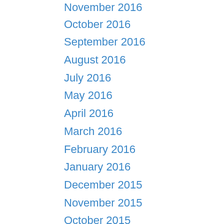November 2016
October 2016
September 2016
August 2016
July 2016
May 2016
April 2016
March 2016
February 2016
January 2016
December 2015
November 2015
October 2015
September 2015
May 2015